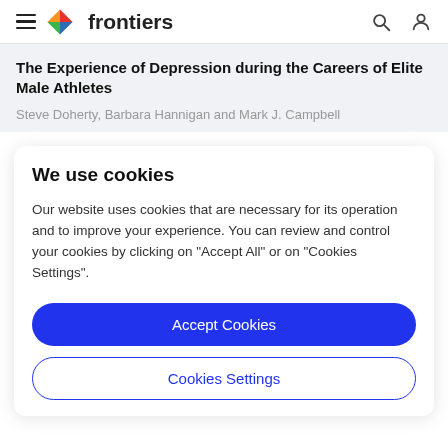frontiers
The Experience of Depression during the Careers of Elite Male Athletes
Steve Doherty, Barbara Hannigan and Mark J. Campbell
We use cookies
Our website uses cookies that are necessary for its operation and to improve your experience. You can review and control your cookies by clicking on "Accept All" or on "Cookies Settings".
Accept Cookies
Cookies Settings